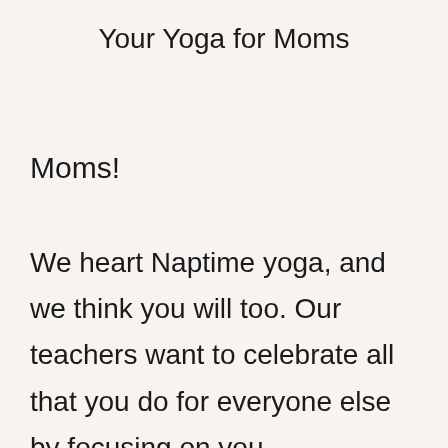Your Yoga for Moms
Moms!
We heart Naptime yoga, and we think you will too. Our teachers want to celebrate all that you do for everyone else by focusing on you.